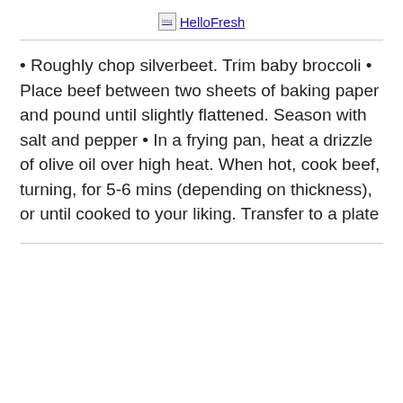HelloFresh
• Roughly chop silverbeet. Trim baby broccoli • Place beef between two sheets of baking paper and pound until slightly flattened. Season with salt and pepper • In a frying pan, heat a drizzle of olive oil over high heat. When hot, cook beef, turning, for 5-6 mins (depending on thickness), or until cooked to your liking. Transfer to a plate